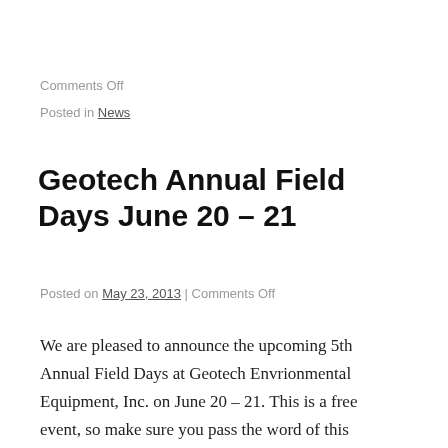Comments Off
Posted in News
Geotech Annual Field Days June 20 – 21
Posted on May 23, 2013 | Comments Off
We are pleased to announce the upcoming 5th Annual Field Days at Geotech Envrionmental Equipment, Inc. on June 20 – 21.  This is a free event, so make sure you pass the word of this great event!  SWEP will have a table set up, so feel free to stop by and say hi!  Check out